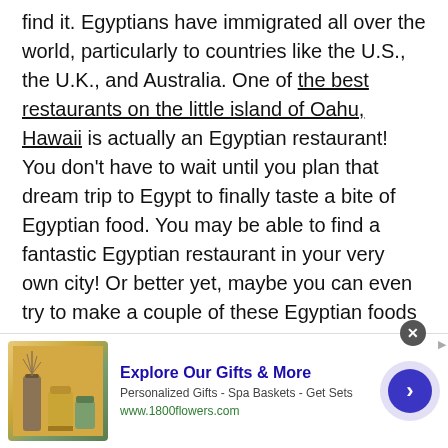find it. Egyptians have immigrated all over the world, particularly to countries like the U.S., the U.K., and Australia. One of the best restaurants on the little island of Oahu, Hawaii is actually an Egyptian restaurant! You don't have to wait until you plan that dream trip to Egypt to finally taste a bite of Egyptian food. You may be able to find a fantastic Egyptian restaurant in your very own city! Or better yet, maybe you can even try to make a couple of these Egyptian foods at home!
[Figure (other): Advertisement banner: 1800flowers.com - Explore Our Gifts & More. Personalized Gifts - Spa Baskets - Get Sets. Shows product image with reed diffuser and candles.]